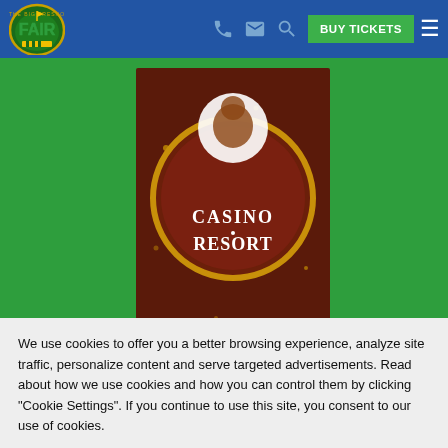[Figure (screenshot): Website header navigation bar with The Big Fresno Fair logo on left, phone/email/search icons, green BUY TICKETS button, and hamburger menu on right against blue background]
[Figure (photo): Casino Resort circular logo/badge partially visible, dark brown background with gold dots, on green background]
[Figure (logo): The Big Fresno Fair circular logo: green oval with FAIR text in green, yellow flag, yellow/green striped bottom, dotted border, on blue background]
We use cookies to offer you a better browsing experience, analyze site traffic, personalize content and serve targeted advertisements. Read about how we use cookies and how you can control them by clicking "Cookie Settings". If you continue to use this site, you consent to our use of cookies.
Cookie Settings
Accept Cookies